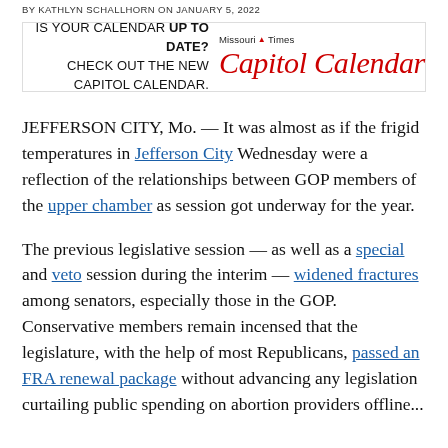BY KATHLYN SCHALLHORN ON JANUARY 5, 2022
[Figure (infographic): Missouri Times Capitol Calendar advertisement banner: 'IS YOUR CALENDAR UP TO DATE? CHECK OUT THE NEW CAPITOL CALENDAR.' with Missouri Times Capitol Calendar logo in red script.]
JEFFERSON CITY, Mo. — It was almost as if the frigid temperatures in Jefferson City Wednesday were a reflection of the relationships between GOP members of the upper chamber as session got underway for the year.
The previous legislative session — as well as a special and veto session during the interim — widened fractures among senators, especially those in the GOP. Conservative members remain incensed that the legislature, with the help of most Republicans, passed an FRA renewal package without advancing any legislation curtailing public spending on abortion providers offline...